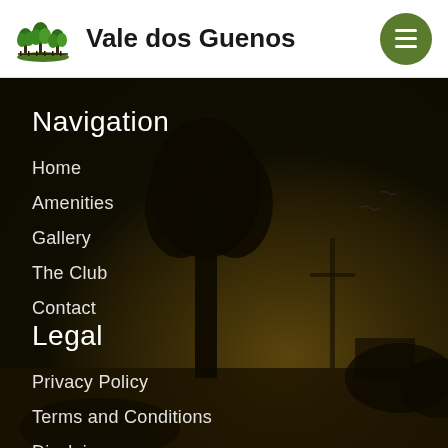[Figure (logo): Vale dos Guenos logo: green trees/hills icon]
Vale dos Guenos
[Figure (other): Hamburger menu button - green circle with three white horizontal lines]
[Figure (photo): Dark scenic background with tree silhouette and landscape at dusk]
Navigation
Home
Amenities
Gallery
The Club
Contact
Legal
Privacy Policy
Terms and Conditions
Disclaimer